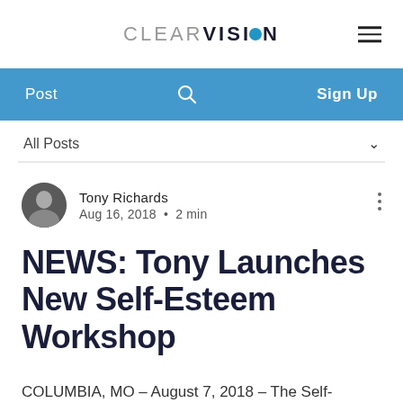CLEAR VISION
Post  Search  Sign Up
All Posts
Tony Richards
Aug 16, 2018 · 2 min
NEWS: Tony Launches New Self-Esteem Workshop
COLUMBIA, MO – August 7, 2018 – The Self-Esteem Workshop is a one-day